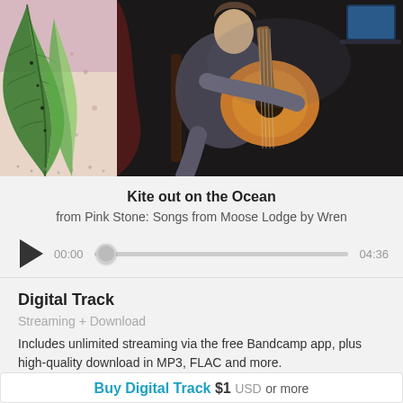[Figure (photo): Two-panel banner image: left panel shows botanical illustration with green tropical leaf on pink/cream background with dots; right panel shows a person playing acoustic guitar seated in a chair against a dark background]
Kite out on the Ocean
from Pink Stone: Songs from Moose Lodge by Wren
[Figure (other): Audio player with play button, progress bar showing 00:00 current time and 04:36 total duration]
Digital Track
Streaming + Download
Includes unlimited streaming via the free Bandcamp app, plus high-quality download in MP3, FLAC and more.
Buy Digital Track  $1  USD  or more